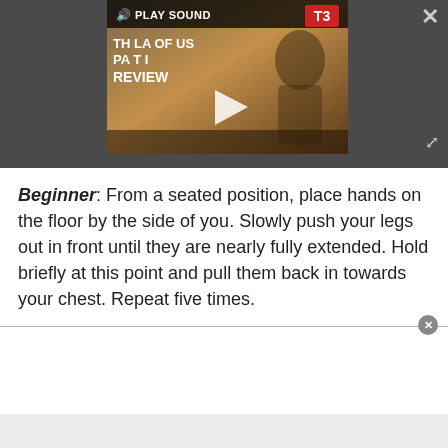[Figure (screenshot): Video player overlay showing a game review video thumbnail. The thumbnail features a character from 'The Last of Us Part II' with a warm orange/brown tone. A 'PLAY SOUND' bar appears at the top of the video. A red T3 badge is in the top-right corner of the thumbnail. A play button triangle is centered on the thumbnail. A close (X) button is in the top-right of the overlay and an expand icon is in the bottom-right.]
Beginner: From a seated position, place hands on the floor by the side of you. Slowly push your legs out in front until they are nearly fully extended. Hold briefly at this point and pull them back in towards your chest. Repeat five times.
[Figure (screenshot): Advertisement container area with a close button (X in a circle) at the top right, a white content area, and a grey footer bar at the bottom.]